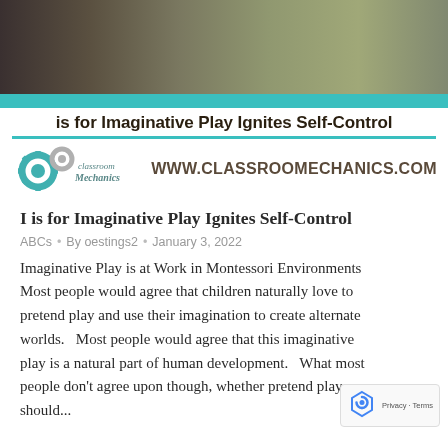[Figure (photo): Hero image of children playing with dinosaur toys, with teal bar at bottom]
is for Imaginative Play Ignites Self-Control
[Figure (logo): Classroom Mechanics logo with gears and text, alongside website URL WWW.CLASSROOMECHANICS.COM]
I is for Imaginative Play Ignites Self-Control
ABCs  •  By oestings2  •  January 3, 2022
Imaginative Play is at Work in Montessori Environments  Most people would agree that children naturally love to pretend play and use their imagination to create alternate worlds.  Most people would agree that this imaginative play is a natural part of human development.  What most people don't agree upon though, whether pretend play should...